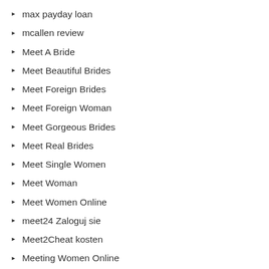max payday loan
mcallen review
Meet A Bride
Meet Beautiful Brides
Meet Foreign Brides
Meet Foreign Woman
Meet Gorgeous Brides
Meet Real Brides
Meet Single Women
Meet Woman
Meet Women Online
meet24 Zaloguj sie
Meet2Cheat kosten
Meeting Women Online